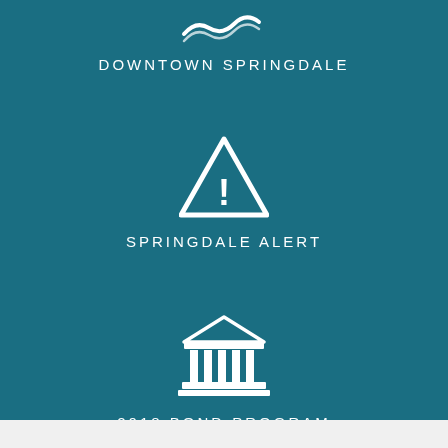[Figure (illustration): White wave/water logo icon at top center]
DOWNTOWN SPRINGDALE
[Figure (illustration): White warning triangle icon with exclamation mark]
SPRINGDALE ALERT
[Figure (illustration): White building/institution icon with columns]
2018 BOND PROGRAM